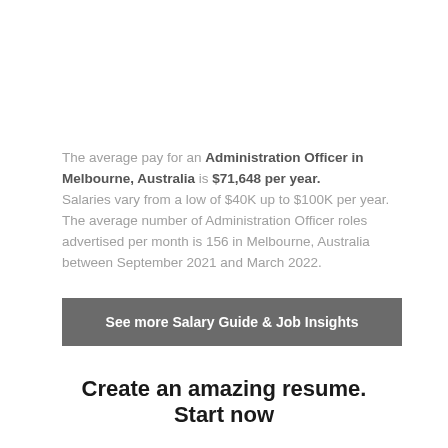The average pay for an Administration Officer in Melbourne, Australia is $71,648 per year. Salaries vary from a low of $40K up to $100K per year. The average number of Administration Officer roles advertised per month is 156 in Melbourne, Australia between September 2021 and March 2022.
See more Salary Guide & Job Insights
Create an amazing resume. Start now